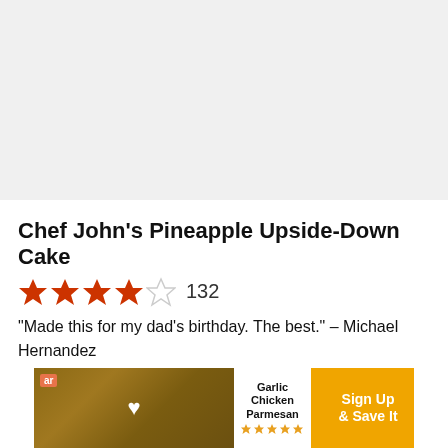[Figure (photo): Light gray placeholder area for recipe food photo at top of page]
Chef John's Pineapple Upside-Down Cake
[Figure (infographic): 4 out of 5 stars rating with count 132]
"Made this for my dad's birthday. The best." – Michael Hernandez
[Figure (screenshot): Ad banner for Garlic Chicken Parmesan with Sign Up & Save It button, showing food image with heart icon and star rating]